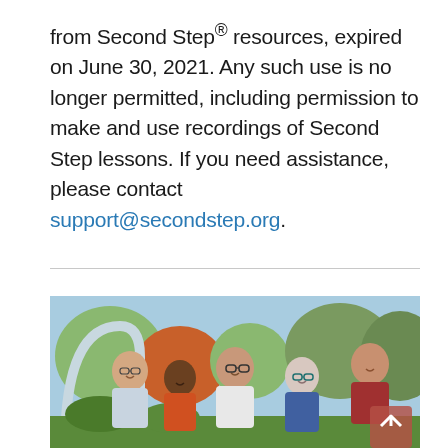from Second Step® resources, expired on June 30, 2021. Any such use is no longer permitted, including permission to make and use recordings of Second Step lessons. If you need assistance, please contact support@secondstep.org.
[Figure (photo): Group photo of five adults smiling outdoors in front of a building with trees and autumn foliage in background. A scroll-to-top button is visible in the lower right corner.]